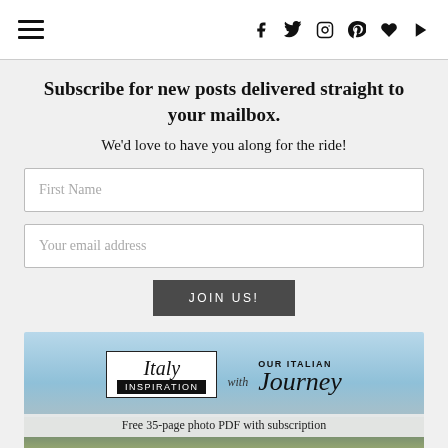[hamburger menu] [social icons: facebook, twitter, instagram, pinterest, heart, youtube]
Subscribe for new posts delivered straight to your mailbox.
We'd love to have you along for the ride!
First Name
Your email address
JOIN US!
[Figure (illustration): Italy Inspiration with Our Italian Journey logo banner with text 'Free 35-page photo PDF with subscription' and a landscape photo of hills/mountains]